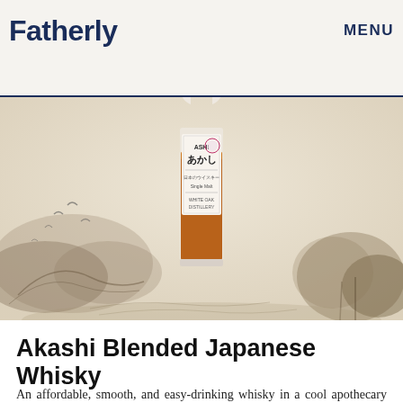Fatherly   MENU
[Figure (photo): Hero image showing a bottle of Akashi Blended Japanese Whisky centered against a beige background with Japanese ink-wash landscape painting elements (birds, trees, mountains). The bottle has Japanese text and a circular emblem on the label, contains amber whisky.]
Akashi Blended Japanese Whisky
An affordable, smooth, and easy-drinking whisky in a cool apothecary bottle that works well in cocktails. Akashi has the oldest whisky license in Japan (they got their license before their first still) and the Akashi White Oak distillery is located right next to the bay in Kobe, so